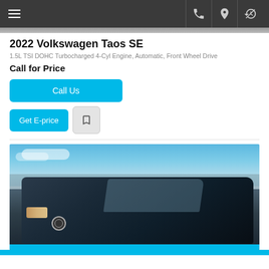Navigation bar with hamburger menu, phone, location, and history icons
2022 Volkswagen Taos SE
1.5L TSI DOHC Turbocharged 4-Cyl Engine, Automatic, Front Wheel Drive
Call for Price
Call Us
Get E-price
[Figure (photo): Front view of a dark navy blue 2022 Volkswagen Taos SE SUV in a dealership lot with blue sky and mountains in background]